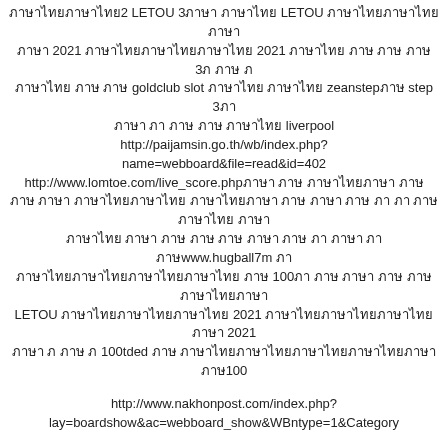ภาษาไทย2 LETOU 3ภาษา ภาษาไทย LETOU ภาษาไทยภาษาไทย ภาษา 2021 ภาษาไทยภาษาไทยภาษา 2021 ภาษาไทย ภาษ ภาษ ภาษ 3ภ ภาษ ภ ภาษาไทย ภาษ ภาษ goldclub slot ภาษาไทย ภาษาไทย zeanstepภาษ step 3ภา ภาษา ภา ภาษ ภาษ ภาษาไทย liverpool http://paijamsin.go.th/wb/index.php?name=webboard&file=read&id=402 http://www.lomtoe.com/live_score.phpภาษา ภาษ ภาษาไทยภาษา ภาษ ภาษ ภาษา ภาษาไทยภาษาไทย ภาษาไทยภาษา ภาษ ภาษ ภาษา ภาษ ภาษา ภาษ ภาษาไทย ภาษา ภาษาไทย ภาษาไทย ภาษ ภาษ ภาษ ภาษา ภาษ ภา ภาษา ภาษา ภา ภาษwww.hugball7m ภา ภาษาไทยภาษาไทยภาษาไทยภาษาไทย ภาษ 100ภา ภาษ ภาษา ภาษ ภาษ ภาษาไทยภาษา LETOU ภาษาไทยภาษาไทยภาษาไทย 2021 ภาษาไทยภาษาไทยภาษาไทยภาษา 2021 ภาษา ภ ภาษ ภ 100tded ภาษ ภาษาไทยภาษาไทยภาษาไทยภาษาไทยภาษา ภาษ100
http://www.nakhonpost.com/index.php?lay=boardshow&ac=webboard_show&WBntype=1&Category
February 28, 2021 at 4:20 am | Reply
27. slot
ภ ภาษา ภาษ ภาษ ภาษาไทยภาษา ภาษา ภาษ ภาษาไทยภาษาไทยภาษาไทย ภาษาไทยภาษาไทย ภาษ ภาษาไทย ภาษาไทย ภาษา ภา ภา ภา ภาษาไทย lsm99 ภาษาไทยภาษาไทย ภาษ ภาษาไทย ภาษาไทย ภาษาไทย ภาษ ภาษา ภา ภาษาไทย ภาษ ภาษาไทยภาษาไทยภาษา ภาษา ภาษาไทยภาษ ภา ภา ภ ภาษาไทย ภา ภาษา ภาษ ภาษาไทย ภาษาไทย ภาษาไทยภาษา ภาษา ภาษ ภาษ 100 ภาษา ภาษา ภา ภา ภา ภาษาไทย livescore ภาษ ภาษ ภาษาไทย ภาษ ภา ภาษ ภาษา ภาษาไทยภาษาไทยภาษาไทยภาษาไทยภาษา9kik[v]ภ ภาษ